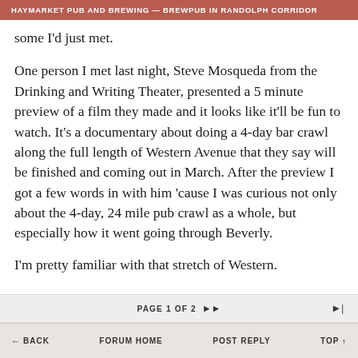HAYMARKET PUB AND BREWING — BREWPUB IN RANDOLPH CORRIDOR
some I'd just met.
One person I met last night, Steve Mosqueda from the Drinking and Writing Theater, presented a 5 minute preview of a film they made and it looks like it'll be fun to watch. It's a documentary about doing a 4-day bar crawl along the full length of Western Avenue that they say will be finished and coming out in March. After the preview I got a few words in with him 'cause I was curious not only about the 4-day, 24 mile pub crawl as a whole, but especially how it went going through Beverly.
I'm pretty familiar with that stretch of Western.
PAGE 1 OF 2  ▶▶  ▶|
← BACK    FORUM HOME    POST REPLY    TOP ↑